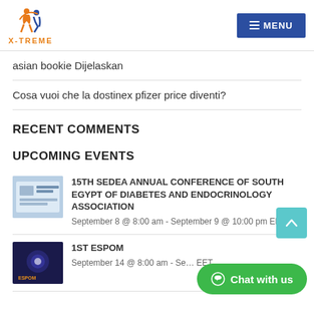X-TREME | MENU
asian bookie Dijelaskan
Cosa vuoi che la dostinex pfizer price diventi?
RECENT COMMENTS
UPCOMING EVENTS
15th SEDEA ANNUAL CONFERENCE OF SOUTH EGYPT OF DIABETES AND ENDOCRINOLOGY ASSOCIATION
September 8 @ 8:00 am - September 9 @ 10:00 pm EET
1st ESPOM
September 14 @ 8:00 am - Se... EET